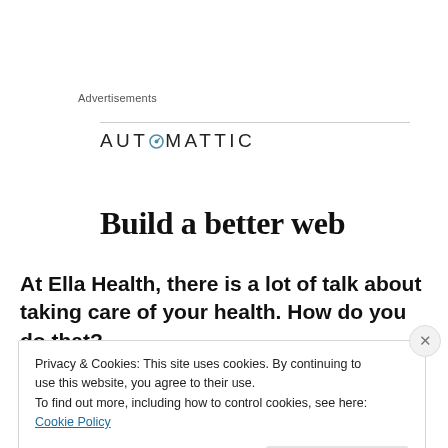Advertisements
[Figure (logo): Automattic logo with compass icon replacing the letter O]
Build a better web
At Ella Health, there is a lot of talk about taking care of your health. How do you do that?
Privacy & Cookies: This site uses cookies. By continuing to use this website, you agree to their use.
To find out more, including how to control cookies, see here: Cookie Policy